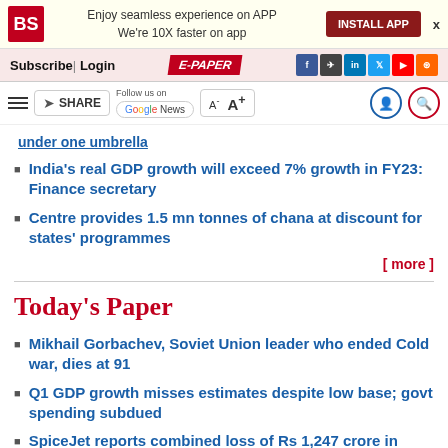BS | Enjoy seamless experience on APP We're 10X faster on app | INSTALL APP
Subscribe | Login | E-PAPER
SHARE | Follow us on Google News | A- A+
under one umbrella
India's real GDP growth will exceed 7% growth in FY23: Finance secretary
Centre provides 1.5 mn tonnes of chana at discount for states' programmes
[ more ]
Today's Paper
Mikhail Gorbachev, Soviet Union leader who ended Cold war, dies at 91
Q1 GDP growth misses estimates despite low base; govt spending subdued
SpiceJet reports combined loss of Rs 1,247 crore in Q4FY22 and Q1FY23